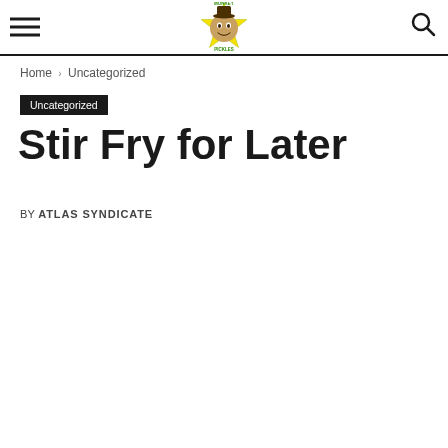Monkey Pickles — site header with hamburger menu, logo, and search icon
Home › Uncategorized
Uncategorized
Stir Fry for Later
BY ATLAS SYNDICATE